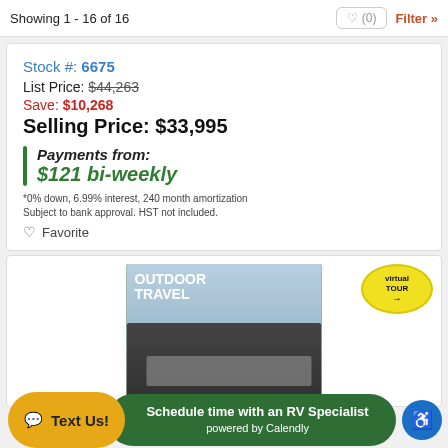Showing 1 - 16 of 16
Stock #: 6675
List Price: $44,263
Save: $10,268
Selling Price: $33,995
Payments from: $121 bi-weekly
*0% down, 6.99% interest, 240 month amortization
Subject to bank approval. HST not included.
Favorite
[Figure (photo): RV trailer photo with Outdoor Travel branding and green border frame; Virtual Tour badge in top right]
Text Us!
Schedule time with an RV Specialist powered by Calendly